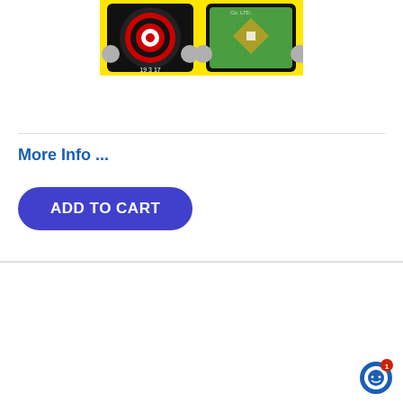[Figure (photo): Inflatable dart board and baseball/sports game combo on yellow background]
More Info ...
ADD TO CART
Tic Tac Toe & 4-Spot Combo Game
[Figure (photo): Inflatable Tic Tac Toe and 4-Spot combo game with circus tent style design, showing '2 Games in 1' badge]